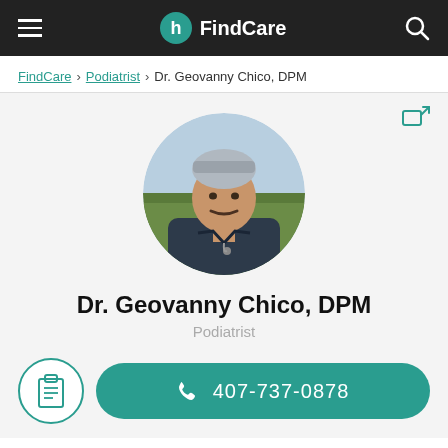FindCare
FindCare > Podiatrist > Dr. Geovanny Chico, DPM
[Figure (photo): Circular profile photo of Dr. Geovanny Chico, a man in dark scrubs outdoors]
Dr. Geovanny Chico, DPM
Podiatrist
407-737-0878